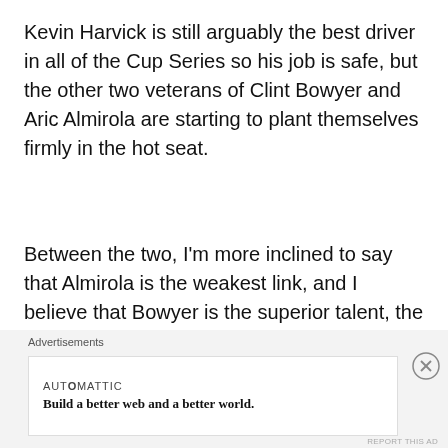Kevin Harvick is still arguably the best driver in all of the Cup Series so his job is safe, but the other two veterans of Clint Bowyer and Aric Almirola are starting to plant themselves firmly in the hot seat.
Between the two, I'm more inclined to say that Almirola is the weakest link, and I believe that Bowyer is the superior talent, the stats aren't as kind, however.
Clint Bowyer in three seasons at SHR:
Advertisements
AUTOMATTIC
Build a better web and a better world.